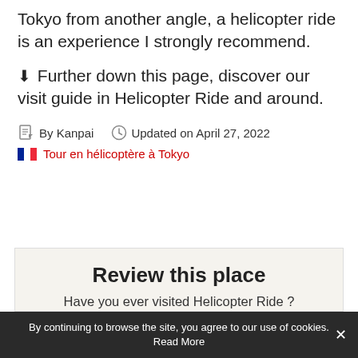Tokyo from another angle, a helicopter ride is an experience I strongly recommend.
↓ Further down this page, discover our visit guide in Helicopter Ride and around.
By Kanpai   Updated on April 27, 2022
Tour en hélicoptère à Tokyo
Review this place
Have you ever visited Helicopter Ride ? Share your opinion
By continuing to browse the site, you agree to our use of cookies. Read More